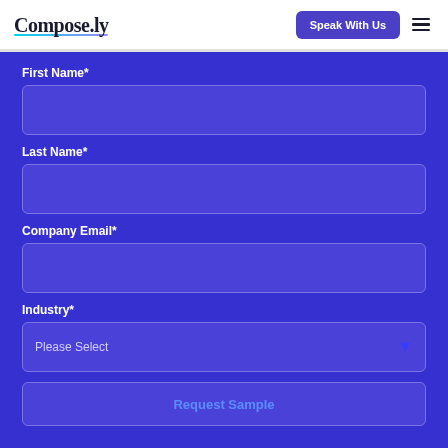Compose.ly | Speak With Us
First Name*
Last Name*
Company Email*
Industry*
Please Select
Request Sample